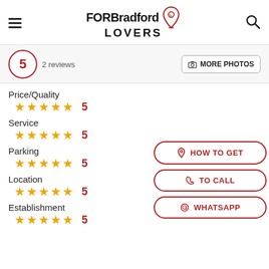FOR Bradford LOVERS
5  2 reviews
MORE PHOTOS
Price/Quality  ★★★★★  5
Service  ★★★★★  5
Parking  ★★★★★  5
Location  ★★★★★  5
Establishment  ★★★★★  5
HOW TO GET
TO CALL
WHATSAPP